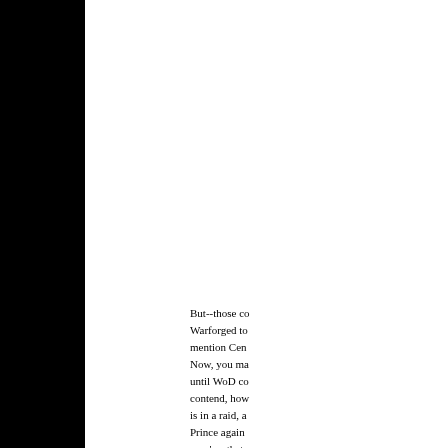But--those co Warforged to mention Cen Now, you ma until WoD co contend, how is in a raid, a Prince again spec' so that characters or